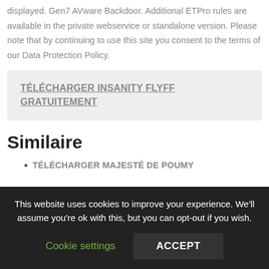displayed. Gen7 AVware Backdoor. Additional ETPro rules are available in the private webservice or standalone version. Please note that by continuing to use this site you consent to the terms of our Data Protection Policy.
TÉLÉCHARGER INSANITY FLYFF GRATUITEMENT
Similaire
TÉLÉCHARGER MAJESTÉ DE POUMY
This website uses cookies to improve your experience. We'll assume you're ok with this, but you can opt-out if you wish.
Cookie settings  ACCEPT